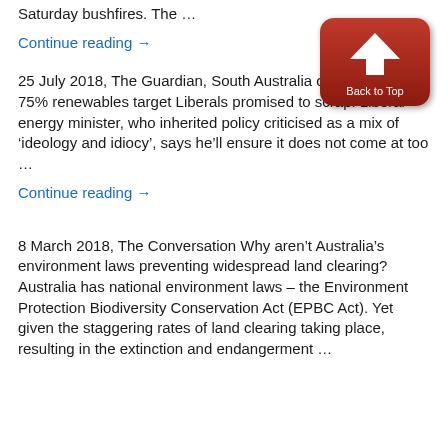Saturday bushfires. The …
Continue reading →
[Figure (other): Back to Top button — red rounded rectangle with white upward arrow icon and 'Back to Top' label]
25 July 2018, The Guardian, South Australia on track to meet 75% renewables target Liberals promised to scrap. Liberal energy minister, who inherited policy criticised as a mix of 'ideology and idiocy', says he'll ensure it does not come at too ...
Continue reading →
8 March 2018, The Conversation Why aren't Australia's environment laws preventing widespread land clearing? Australia has national environment laws – the Environment Protection Biodiversity Conservation Act (EPBC Act). Yet given the staggering rates of land clearing taking place, resulting in the extinction and endangerment …